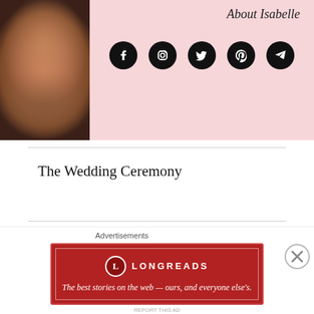[Figure (photo): Portrait photo of Isabelle on a pink background with social media icons (Facebook, Instagram, Twitter, Pinterest, Telegram) and italic heading 'About Isabelle']
The Wedding Ceremony
Werner’s Oven Authentic German Delights
20 responses to “Whatever Floats Your Flamingo”
Advertisements
[Figure (screenshot): Longreads advertisement banner: red background with Longreads logo and tagline 'The best stories on the web — ours, and everyone else’s.']